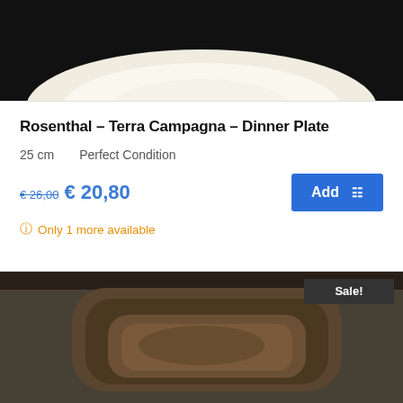[Figure (photo): Top portion of a white ceramic dinner plate on black background]
Rosenthal – Terra Campagna – Dinner Plate
25 cm    Perfect Condition
€ 26,00  € 20,80
Only 1 more available
[Figure (photo): Dark brown square ceramic dish/bowl viewed from above on grey background, with Sale! badge]